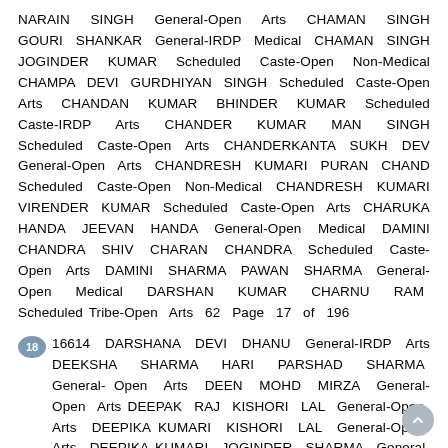NARAIN SINGH General-Open Arts CHAMAN SINGH GOURI SHANKAR General-IRDP Medical CHAMAN SINGH JOGINDER KUMAR Scheduled Caste-Open Non-Medical CHAMPA DEVI GURDHIYAN SINGH Scheduled Caste-Open Arts CHANDAN KUMAR BHINDER KUMAR Scheduled Caste-IRDP Arts CHANDER KUMAR MAN SINGH Scheduled Caste-Open Arts CHANDERKANTA SUKH DEV General-Open Arts CHANDRESH KUMARI PURAN CHAND Scheduled Caste-Open Non-Medical CHANDRESH KUMARI VIRENDER KUMAR Scheduled Caste-Open Arts CHARUKA HANDA JEEVAN HANDA General-Open Medical DAMINI CHANDRA SHIV CHARAN CHANDRA Scheduled Caste-Open Arts DAMINI SHARMA PAWAN SHARMA General-Open Medical DARSHAN KUMAR CHARNU RAM Scheduled Tribe-Open Arts 62 Page 17 of 196
18 16614 DARSHANA DEVI DHANU General-IRDP Arts DEEKSHA SHARMA HARI PARSHAD SHARMA General-Open Arts DEEN MOHD MIRZA General-Open Arts DEEPAK RAJ KISHORI LAL General-Open Arts DEEPIKA KUMARI KISHORI LAL General-Open Arts DEEPIKA KUMARI JOGINDER SHARMA General-Ex-Serviceman/Wards Ex-Servicemen Medical DEEPMA